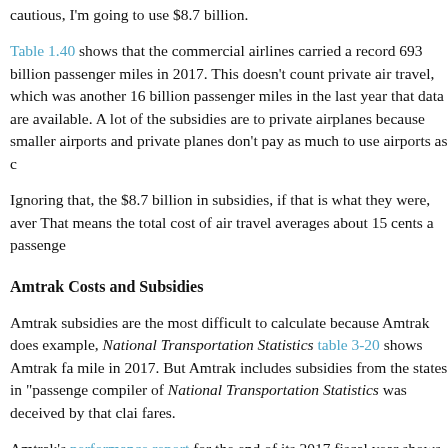cautious, I'm going to use $8.7 billion.
Table 1.40 shows that the commercial airlines carried a record 693 billion passenger miles in 2017. This doesn't count private air travel, which was another 16 billion passenger miles in the last year that data are available. A lot of the subsidies are to private airplanes because smaller airports and private planes don't pay as much to use airports as commercial airlines.
Ignoring that, the $8.7 billion in subsidies, if that is what they were, averaged about 12 cents a mile. That means the total cost of air travel averages about 15 cents a passenger mile.
Amtrak Costs and Subsidies
Amtrak subsidies are the most difficult to calculate because Amtrak does not report them. For example, National Transportation Statistics table 3-20 shows Amtrak fared about 26 cents per passenger mile in 2017. But Amtrak includes subsidies from the states in "passenger revenues," and the compiler of National Transportation Statistics was deceived by that claim. State subsidies are not fares.
Amtrak's performance report for the end of its 2017 fiscal year shows that it earned $2.1 billion in revenues and $0.1 billion in food and beverage revenues. Based on this, I calculate actual passenger revenues of $2.2 billion. The report also shows that Amtrak carried 6.5 billion passenger miles. From that, I calculate actual passenger revenues of 35.6 cents per passenger mile.
Amtrak's costs are even murkier. Its performance report claims a net loss of $0.2 billion. To this must be added the $0.2 billion in state subsidies that Amtrak claimed were passenger revenues. Then, according to Amtrak's 2018 Budget Request to Congress, the federal government gave Amtrak